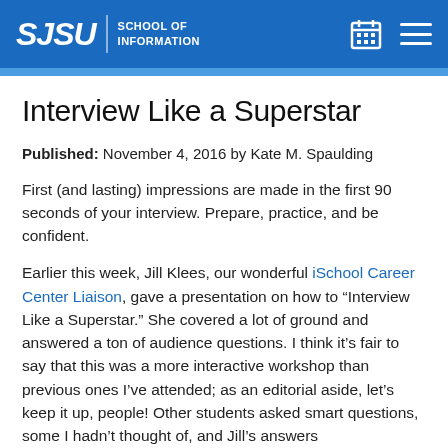SJSU SCHOOL OF INFORMATION
Interview Like a Superstar
Published: November 4, 2016 by Kate M. Spaulding
First (and lasting) impressions are made in the first 90 seconds of your interview. Prepare, practice, and be confident.
Earlier this week, Jill Klees, our wonderful iSchool Career Center Liaison, gave a presentation on how to “Interview Like a Superstar.” She covered a lot of ground and answered a ton of audience questions. I think it’s fair to say that this was a more interactive workshop than previous ones I’ve attended; as an editorial aside, let’s keep it up, people! Other students asked smart questions, some I hadn’t thought of, and Jill’s answers